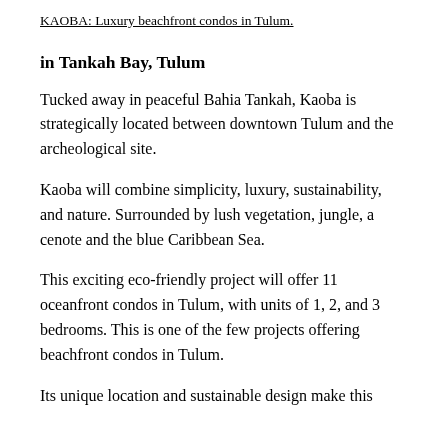KAOBA: Luxury beachfront condos in Tulum.
in Tankah Bay, Tulum
Tucked away in peaceful Bahia Tankah, Kaoba is strategically located between downtown Tulum and the archeological site.
Kaoba will combine simplicity, luxury, sustainability, and nature. Surrounded by lush vegetation, jungle, a cenote and the blue Caribbean Sea.
This exciting eco-friendly project will offer 11 oceanfront condos in Tulum, with units of 1, 2, and 3 bedrooms. This is one of the few projects offering beachfront condos in Tulum.
Its unique location and sustainable design make this